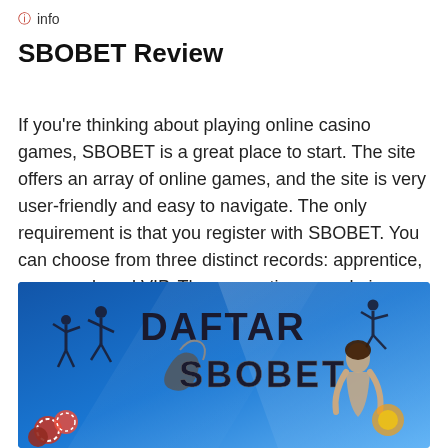ℹ info
SBOBET Review
If you're thinking about playing online casino games, SBOBET is a great place to start. The site offers an array of online games, and the site is very user-friendly and easy to navigate. The only requirement is that you register with SBOBET. You can choose from three distinct records: apprentice, seasoned, and VIP. The apprentice record gives you easy access to the website and allows you to register right away.
[Figure (photo): Promotional banner for DAFTAR SBOBET showing sports player silhouettes, casino chips, and a woman, with the text DAFTAR SBOBET on a blue background]